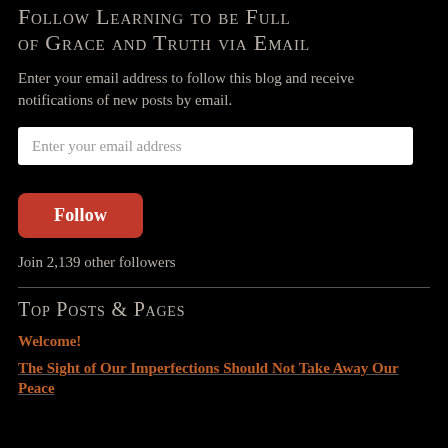Follow Learning to be Full of Grace and Truth via Email
Enter your email address to follow this blog and receive notifications of new posts by email.
Enter your email address
Follow
Join 2,139 other followers
Top Posts & Pages
Welcome!
The Sight of Our Imperfections Should Not Take Away Our Peace